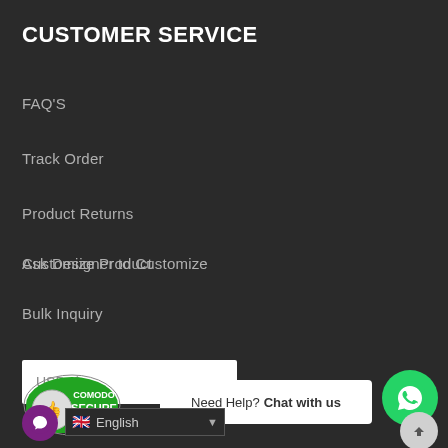CUSTOMER SERVICE
FAQ'S
Track Order
Product Returns
Customize Product
Ask Designer to Customize
Bulk Inquiry
USD, $
[Figure (logo): Comodo Secure security badge with thumbs up icon]
Need Help? Chat with us
[Figure (logo): WhatsApp contact button - green circle with phone icon]
[Figure (logo): Purple chat support icon circle]
English